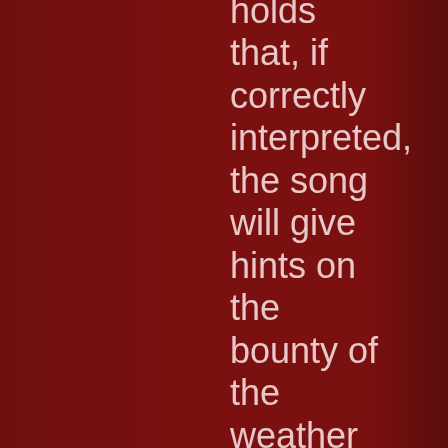holds that, if correctly interpreted, the song will give hints on the bounty of the weather and the